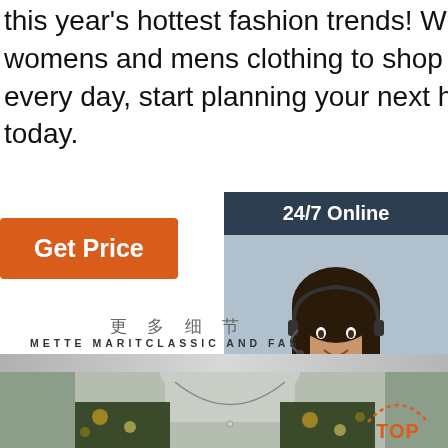this year's hottest fashion trends! With new womens and mens clothing to shop in store every day, start planning your next haul online today.
[Figure (other): Orange 'Get Price' button]
[Figure (other): Sidebar with '24/7 Online' header, photo of smiling woman with headset, 'Click here for free chat!' text, and orange QUOTATION button]
更 多 细 节
METTE MARITCLASSIC AND FAS
[Figure (photo): Photo of a clothing mannequin torso displaying a floral dress neckline detail, with a 'TOP' badge overlay in the bottom right]